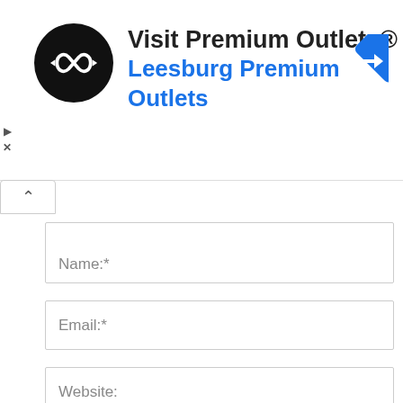[Figure (screenshot): Advertisement banner for Visit Premium Outlets / Leesburg Premium Outlets with logo circle, directional icon, and ad controls]
Name:*
Email:*
Website:
Save my name, email, and website in this browser for the next time I comment.
POST COMMENT
Advertisement